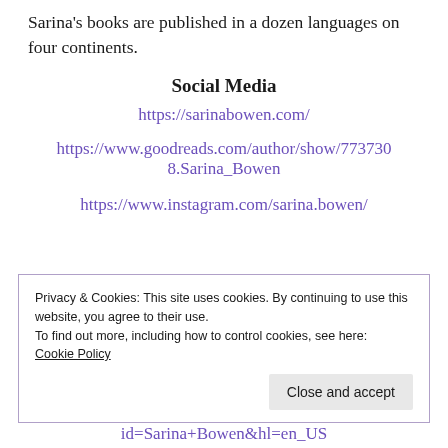Sarina's books are published in a dozen languages on four continents.
Social Media
https://sarinabowen.com/
https://www.goodreads.com/author/show/7737308.Sarina_Bowen
https://www.instagram.com/sarina.bowen/
Privacy & Cookies: This site uses cookies. By continuing to use this website, you agree to their use.
To find out more, including how to control cookies, see here:
Cookie Policy
Close and accept
id=Sarina+Bowen&hl=en_US